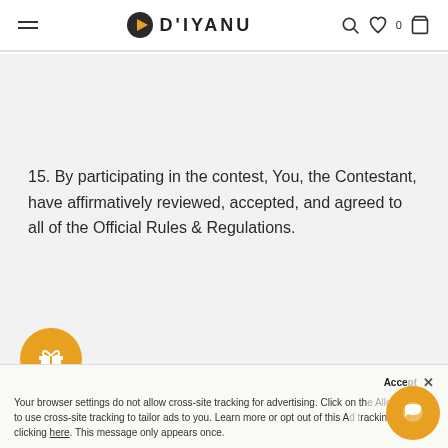D'IYANU — navigation header with hamburger menu, logo, search, wishlist, and cart icons
15. By participating in the contest, You, the Contestant, have affirmatively reviewed, accepted, and agreed to all of the Official Rules & Regulations.
FEATURED IN
Accept ×
Your browser settings do not allow cross-site tracking for advertising. Click on the Allow AdRoll to use cross-site tracking to tailor ads to you. Learn more or opt out of this Ad tracking by clicking here. This message only appears once.